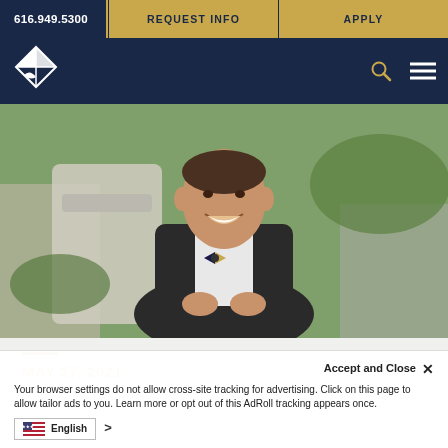616.949.5300 | REQUEST INFO | APPLY
[Figure (logo): Cornerstone University logo — white geometric diamond/book shape on dark navy background with search and hamburger menu icons]
[Figure (photo): Man in dark suit and bow tie smiling outdoors in front of a large abstract sculpture, green trees in background]
MAY 27, 2021
CORNERSTONE UNIVERSITY SELECTS
Accept and Close ×
Your browser settings do not allow cross-site tracking for advertising. Click on this page to allow tailor ads to you. Learn more or opt out of this AdRoll tracking appears once.
English >